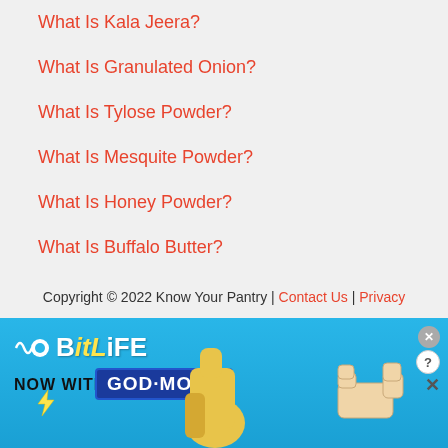What Is Kala Jeera?
What Is Granulated Onion?
What Is Tylose Powder?
What Is Mesquite Powder?
What Is Honey Powder?
What Is Buffalo Butter?
Copyright © 2022 Know Your Pantry | Contact Us | Privacy
[Figure (other): BitLife advertisement banner — NOW WITH GOD MODE, with thumbs up and pointing hand graphics]